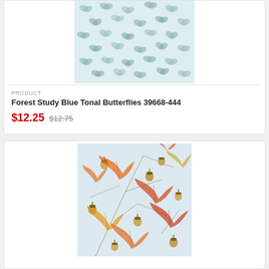[Figure (photo): Fabric swatch showing blue tonal butterfly pattern on light background - Forest Study Blue Tonal Butterflies]
PRODUCT
Forest Study Blue Tonal Butterflies 39668-444
$12.25 $12.75
[Figure (photo): Fabric swatch showing autumn leaves and acorns pattern on light blue background]